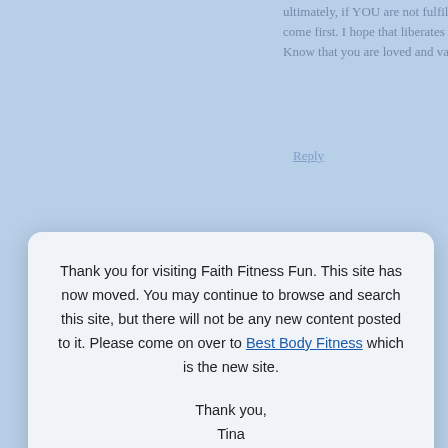ultimately, if YOU are not fulfilled and healthy, you can’t come first. I hope that liberates you to… Know that you are loved and valued, bu…
Reply
Denise says:
[Figure (screenshot): Modal dialog box with notification message about Faith Fitness Fun site moving to Best Body Fitness, with Ok button]
Reply
denise says: October 18, 2011 at 8:37 pm
I forgot to mention that you girls are striving for the illusion of perfection wh… got to relax and live life, slow down and… time!!!!!